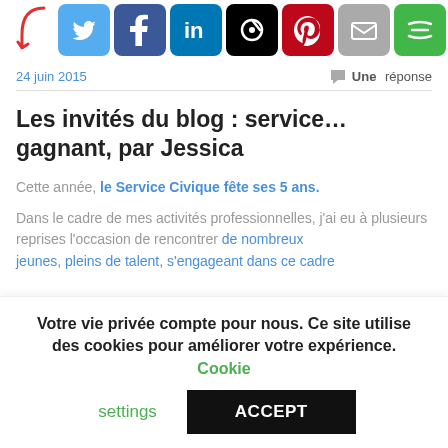[Figure (infographic): Social sharing icons row: Twitter (blue), Facebook (dark blue), LinkedIn (blue), Vine (black), Pinterest (red), Email (grey), More (green), with a red arrow pointing to them from the left]
24 juin 2015
Une réponse
Les invités du blog : service…gagnant, par Jessica
Cette année, le Service Civique fête ses 5 ans.
Dans le cadre de mes activités professionnelles, j'ai eu à plusieurs reprises l'occasion de rencontrer de nombreux jeunes, pleins de talent, s'engageant dans ce cadre
Votre vie privée compte pour nous. Ce site utilise des cookies pour améliorer votre expérience. Cookie settings ACCEPT